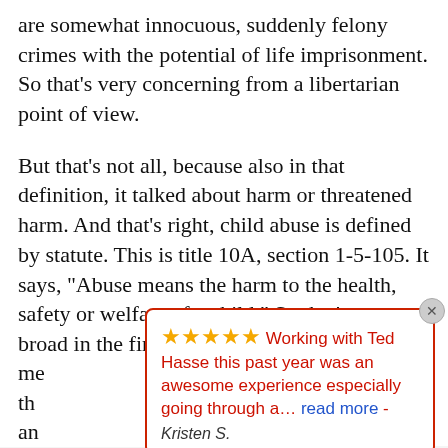are somewhat innocuous, suddenly felony crimes with the potential of life imprisonment. So that's very concerning from a libertarian point of view.
But that's not all, because also in that definition, it talked about harm or threatened harm. And that's right, child abuse is defined by statute. This is title 10A, section 1-5-105. It says, "Abuse means the harm to the health, safety or welfare of a child." So that's pretty broad in the first place. Health, safety, or welfare.
Bu... me th an [partial text, continues below popup]
[Figure (other): A review popup widget with a red border, showing 5 gold stars, red text reading 'Working with Ted Hasse this past year was an awesome experience especially going through a… read more -', and author name 'Kristen S.' in italic. Has an X close button in the top-right corner.]